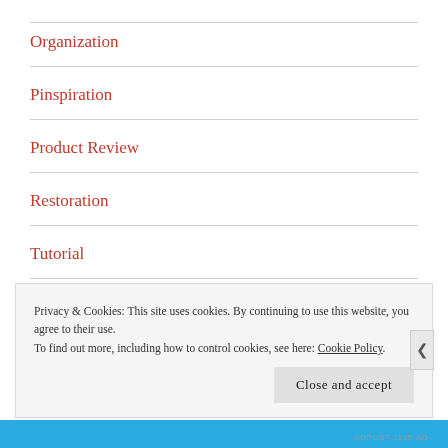Organization
Pinspiration
Product Review
Restoration
Tutorial
Uncategorized
Privacy & Cookies: This site uses cookies. By continuing to use this website, you agree to their use.
To find out more, including how to control cookies, see here: Cookie Policy
Close and accept